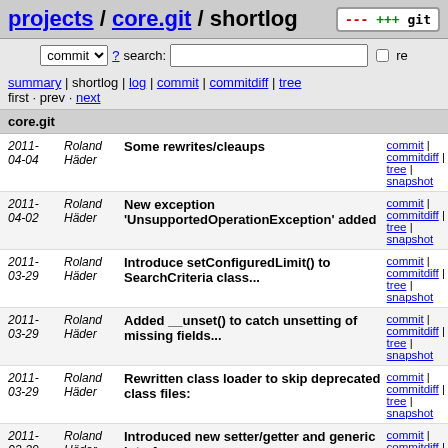projects / core.git / shortlog
commit ? search: re
summary | shortlog | log | commit | commitdiff | tree
first · prev · next
core.git
| Date | Author | Message | Links |
| --- | --- | --- | --- |
| 2011-04-04 | Roland Häder | Some rewrites/cleaups | commit | commitdiff | tree | snapshot |
| 2011-04-02 | Roland Häder | New exception 'UnsupportedOperationException' added | commit | commitdiff | tree | snapshot |
| 2011-03-29 | Roland Häder | Introduce setConfiguredLimit() to SearchCriteria class... | commit | commitdiff | tree | snapshot |
| 2011-03-29 | Roland Häder | Added __unset() to catch unsetting of missing fields... | commit | commitdiff | tree | snapshot |
| 2011-03-29 | Roland Häder | Rewritten class loader to skip deprecated class files: | commit | commitdiff | tree | snapshot |
| 2011-03-29 | Roland Häder | Introduced new setter/getter and generic interface: | commit | commitdiff | tree | snapshot |
| 2011-03-29 | Roland Häder | Added magic methods __get/set(). Please watch these... | commit | commitdiff |